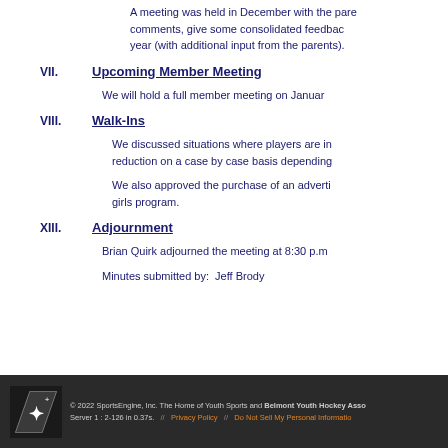A meeting was held in December with the parents to gather comments, give some consolidated feedback, and plan for next year (with additional input from the parents).
VII. Upcoming Member Meeting
We will hold a full member meeting on January...
VIII. Walk-Ins
We discussed situations where players are interested in a reduction on a case by case basis depending...
We also approved the purchase of an advertising... girls program.
XIII. Adjournment
Brian Quirk adjourned the meeting at 8:30 p.m.
Minutes submitted by:  Jeff Brody
© 2022 SportsEngine, Inc. The Home of Youth Sports and Belmont Youth Hockey Association. Server 1 : 2-126 in 0.37s.   //   Privacy Policy   //   Do Not Sell My Personal Information